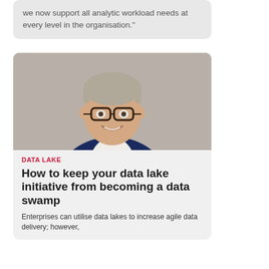we now support all analytic workload needs at every level in the organisation."
[Figure (photo): Professional headshot of a middle-aged man with grey hair wearing glasses and a navy suit over a white shirt, smiling against a light grey background.]
DATA LAKE
How to keep your data lake initiative from becoming a data swamp
Enterprises can utilise data lakes to increase agile data delivery; however, they can also reap the benefits without...